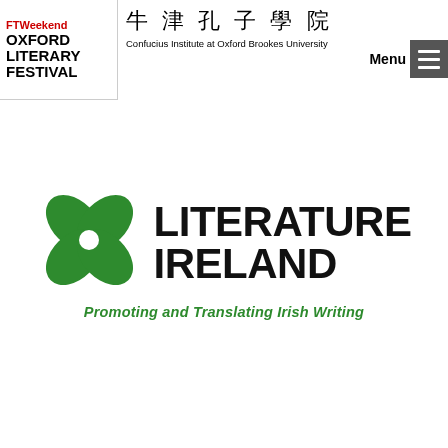[Figure (logo): FT Weekend Oxford Literary Festival logo in top-left corner with red and black text]
[Figure (logo): Confucius Institute at Oxford Brookes University logo with Chinese characters and navigation menu button]
[Figure (logo): Literature Ireland logo with green four-leaf clover symbol and tagline 'Promoting and Translating Irish Writing']